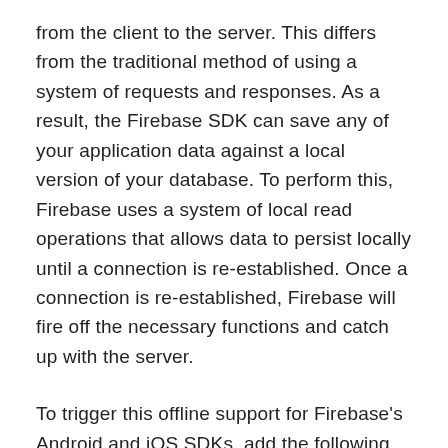from the client to the server. This differs from the traditional method of using a system of requests and responses. As a result, the Firebase SDK can save any of your application data against a local version of your database. To perform this, Firebase uses a system of local read operations that allows data to persist locally until a connection is re-established. Once a connection is re-established, Firebase will fire off the necessary functions and catch up with the server.
To trigger this offline support for Firebase's Android and iOS SDKs, add the following code to your app.